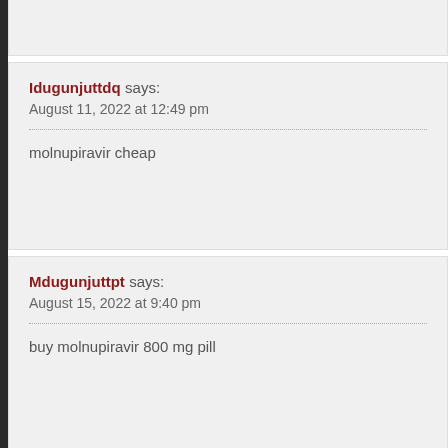Idugunjuttdq says:
August 11, 2022 at 12:49 pm
molnupiravir cheap
Mdugunjuttpt says:
August 15, 2022 at 9:40 pm
buy molnupiravir 800 mg pill
Ldugunjuttlt says:
August 20, 2022 at 8:17 pm
oral levitra